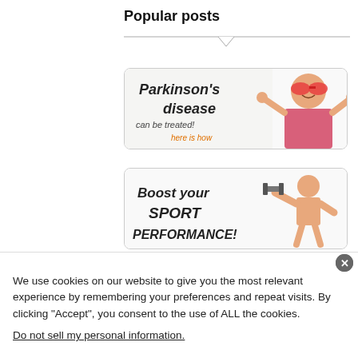Popular posts
[Figure (illustration): Advertisement banner for Parkinson's disease treatment: text 'Parkinson's disease can be treated! here is how' with image of a cheerful elderly woman with sunglasses]
[Figure (illustration): Advertisement banner for Boost your SPORT PERFORMANCE with cartoon figure of muscular person lifting weights]
We use cookies on our website to give you the most relevant experience by remembering your preferences and repeat visits. By clicking “Accept”, you consent to the use of ALL the cookies.
Do not sell my personal information.